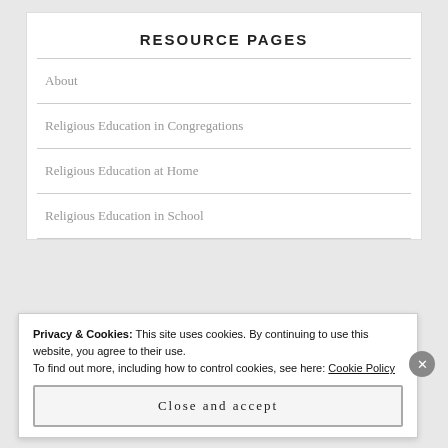RESOURCE PAGES
About
Religious Education in Congregations
Religious Education at Home
Religious Education in School
Privacy & Cookies: This site uses cookies. By continuing to use this website, you agree to their use.
To find out more, including how to control cookies, see here: Cookie Policy
Close and accept